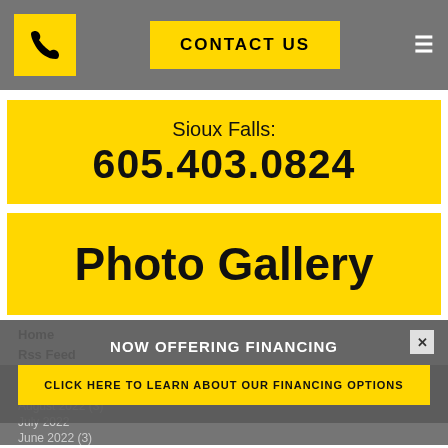Phone icon | CONTACT US | ≡
Sioux Falls:
605.403.0824
Photo Gallery
Home
Rss Feed
2022
August 2022 (3)
July 2022
June 2022 (3)
NOW OFFERING FINANCING
CLICK HERE TO LEARN ABOUT OUR FINANCING OPTIONS